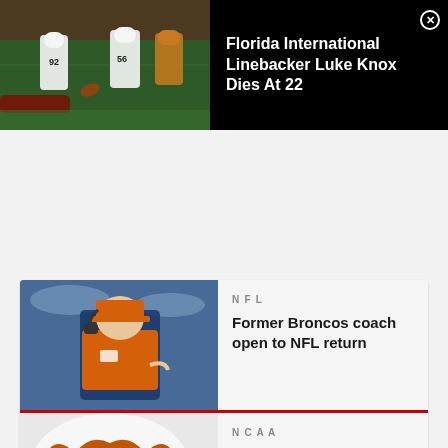[Figure (photo): Football players on field in white uniforms with numbers 92 and 56, action shot during a game at night]
Florida International Linebacker Luke Knox Dies At 22
[Figure (photo): Football coach wearing orange headset and cap on sideline]
NFL
Former Broncos coach open to NFL return
[Figure (photo): Close-up of Texas Longhorns football helmet]
NCAA
Texas Longhorns officially name starting quarterback